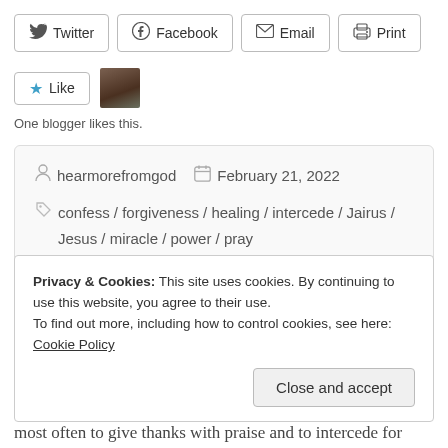Twitter | Facebook | Email | Print (share buttons)
One blogger likes this.
hearmorefromgod  February 21, 2022  confess / forgiveness / healing / intercede / Jairus / Jesus / miracle / power / pray
Privacy & Cookies: This site uses cookies. By continuing to use this website, you agree to their use. To find out more, including how to control cookies, see here: Cookie Policy
Close and accept
most often to give thanks with praise and to intercede for